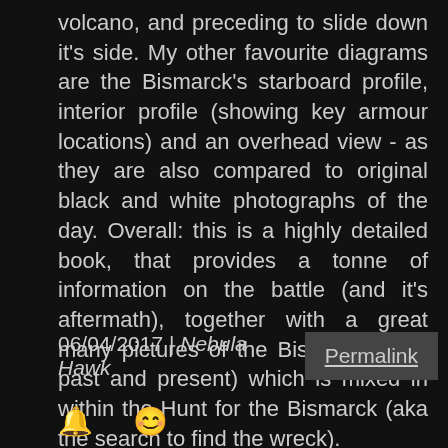volcano, and preceding to slide down it's side. My other favourite diagrams are the Bismarck's starboard profile, interior profile (showing key armour locations) and an overhead view - as they are also compared to original black and white photographs of the day. Overall: this is a highly detailed book, that provides a tonne of information on the battle (and it's aftermath), together with a great many pictures of the Bismarck (both past and present) which is mixed in within the Hunt for the Bismarck (aka the search to find the wreck).
06/04/2017 | Nebula Hawk
Permalink